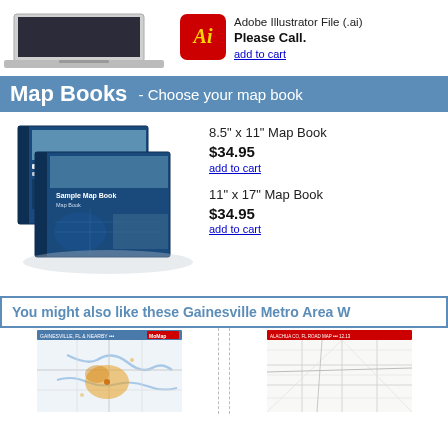[Figure (photo): Laptop computer image (cropped, top portion visible)]
[Figure (logo): Adobe Illustrator icon - red rounded square with gold Ai text]
Adobe Illustrator File (.ai)
Please Call.
add to cart
Map Books - Choose your map book
[Figure (photo): Map book product image showing two overlapping map books with blue cover and road maps]
8.5" x 11" Map Book
$34.95
add to cart
11" x 17" Map Book
$34.95
add to cart
You might also like these Gainesville Metro Area W
[Figure (map): Gainesville Metro Area map thumbnail - left, showing road network and highlighted area in yellow/orange]
[Figure (map): Gainesville Metro Area map thumbnail - right, showing road network on white/light background with red header bar]